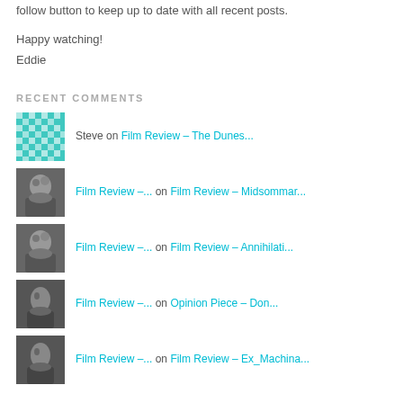follow button to keep up to date with all recent posts.
Happy watching!
Eddie
RECENT COMMENTS
Steve on Film Review – The Dunes...
Film Review –... on Film Review – Midsommar...
Film Review –... on Film Review – Annihilati...
Film Review –... on Opinion Piece – Don...
Film Review –... on Film Review – Ex_Machina...
ARCHIVES